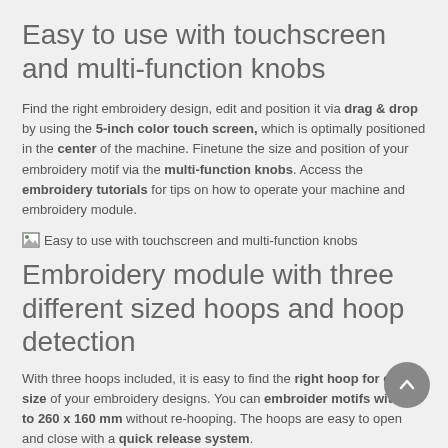Easy to use with touchscreen and multi-function knobs
Find the right embroidery design, edit and position it via drag & drop by using the 5-inch color touch screen, which is optimally positioned in the center of the machine. Finetune the size and position of your embroidery motif via the multi-function knobs. Access the embroidery tutorials for tips on how to operate your machine and embroidery module.
[Figure (photo): Broken image placeholder with alt text: Easy to use with touchscreen and multi-function knobs]
Embroidery module with three different sized hoops and hoop detection
With three hoops included, it is easy to find the right hoop for each size of your embroidery designs. You can embroider motifs with up to 260 x 160 mm without re-hooping. The hoops are easy to open and close with a quick release system.